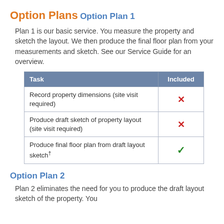Option Plans
Option Plan 1
Plan 1 is our basic service. You measure the property and sketch the layout. We then produce the final floor plan from your measurements and sketch. See our Service Guide for an overview.
| Task | Included |
| --- | --- |
| Record property dimensions (site visit required) | ✗ |
| Produce draft sketch of property layout (site visit required) | ✗ |
| Produce final floor plan from draft layout sketch† | ✓ |
Option Plan 2
Plan 2 eliminates the need for you to produce the draft layout sketch of the property. You